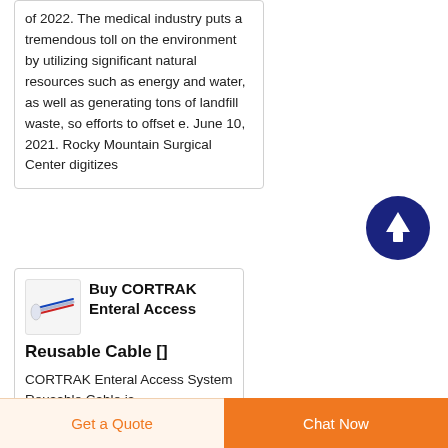of 2022. The medical industry puts a tremendous toll on the environment by utilizing significant natural resources such as energy and water, as well as generating tons of landfill waste, so efforts to offset e. June 10, 2021. Rocky Mountain Surgical Center digitizes
[Figure (illustration): Blue circular back-to-top button with upward arrow icon]
[Figure (photo): Product thumbnail image of CORTRAK Enteral Access Reusable Cable]
Buy CORTRAK Enteral Access Reusable Cable []
CORTRAK Enteral Access System Reusable Cable is